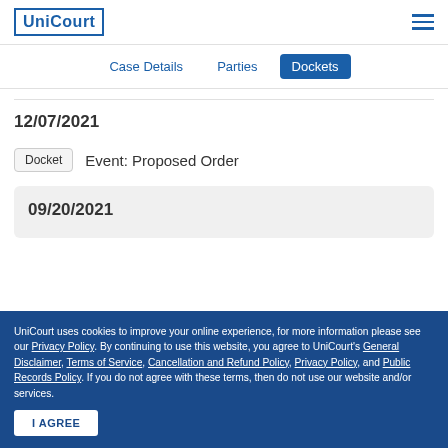UniCourt
Case Details   Parties   Dockets
12/07/2021
Docket   Event: Proposed Order
09/20/2021
UniCourt uses cookies to improve your online experience, for more information please see our Privacy Policy. By continuing to use this website, you agree to UniCourt's General Disclaimer, Terms of Service, Cancellation and Refund Policy, Privacy Policy, and Public Records Policy. If you do not agree with these terms, then do not use our website and/or services.
I AGREE